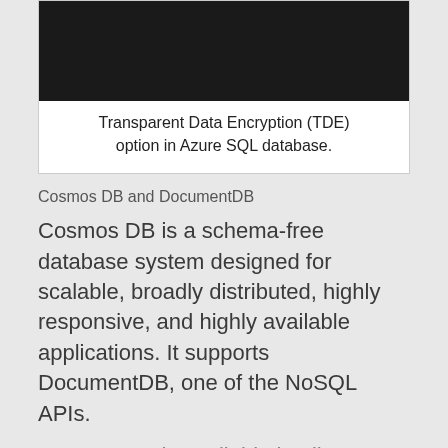[Figure (screenshot): Dark screenshot of Transparent Data Encryption (TDE) option in Azure SQL database interface]
Transparent Data Encryption (TDE) option in Azure SQL database.
Cosmos DB and DocumentDB
Cosmos DB is a schema-free database system designed for scalable, broadly distributed, highly responsive, and highly available applications. It supports DocumentDB, one of the NoSQL APIs.
Cosmos DB is available in all Azure regions by default. We can easily add a second region as Read Region simply by clicking on